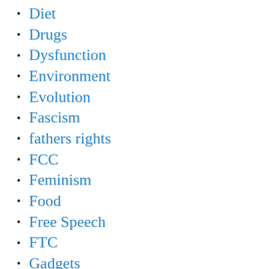Diet
Drugs
Dysfunction
Environment
Evolution
Fascism
fathers rights
FCC
Feminism
Food
Free Speech
FTC
Gadgets
Google
Greatest
Home networks